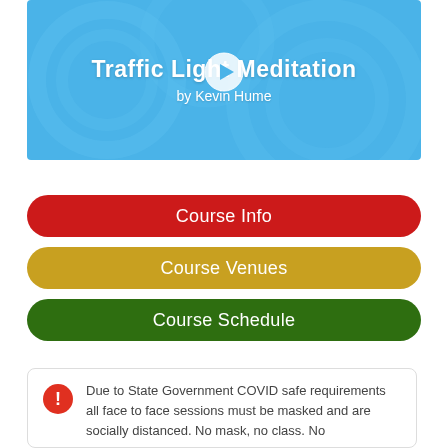[Figure (screenshot): Blue banner with title 'Traffic Light Meditation by Kevin Hume' and a play button icon overlay]
Course Info
Course Venues
Course Schedule
Due to State Government COVID safe requirements all face to face sessions must be masked and are socially distanced. No mask, no class. No